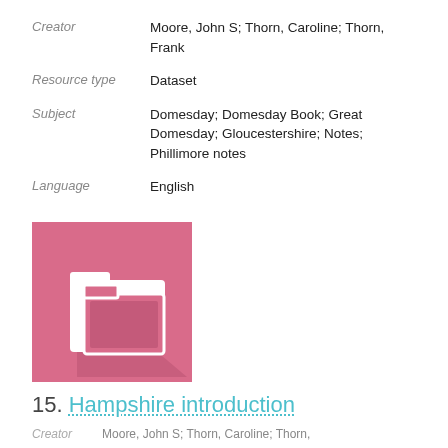Creator: Moore, John S; Thorn, Caroline; Thorn, Frank
Resource type: Dataset
Subject: Domesday; Domesday Book; Great Domesday; Gloucestershire; Notes; Phillimore notes
Language: English
[Figure (illustration): Pink square icon with a white folder graphic (two overlapping folder shapes) and a diagonal shadow, used as a dataset thumbnail.]
15. Hampshire introduction
Creator: Moore, John S; Thorn, Caroline; Thorn,